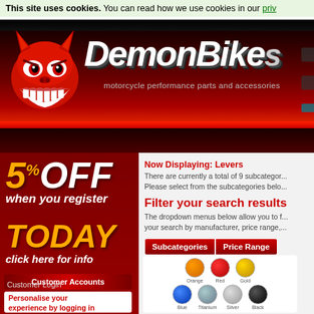This site uses cookies. You can read how we use cookies in our priv
[Figure (logo): DemonBikes website header with red demon devil mascot logo and brand name 'DemonBike' in large silver/white italic text with tagline 'motorcycle performance parts and accessories']
5% OFF when you register TODAY click here for info
Customer Accounts
Personalise your experience by logging in or creating an account below...
Customer Login
Now Displaying: Levers
There are currently a total of 9 subcategories. Please select from the subcategories belo
Filter your search results
The dropdown menus below allow you to filter your search by manufacturer, price range,
Subcategories | Price Range
[Figure (illustration): Color swatch options showing motorcycle lever colors: Orange, Red, Gold (top row), Blue, Titanium, Silver, Black (bottom row), with Custom Made option]